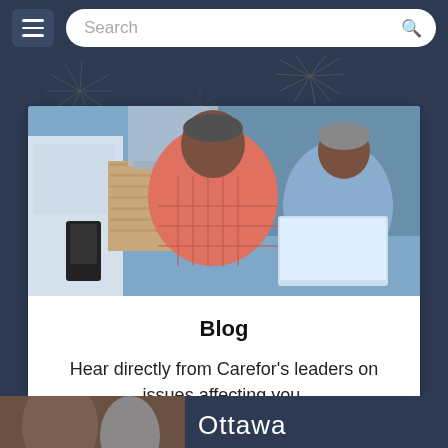Search
[Figure (photo): Two older adults, a man in a pink plaid shirt and a woman in a light blue shirt, looking at a laptop together in a kitchen setting.]
Blog
Hear directly from Carefor's leaders on issues affecting you.
[Figure (photo): Partial view of a photo at the bottom of the page with the text 'Ottawa' visible.]